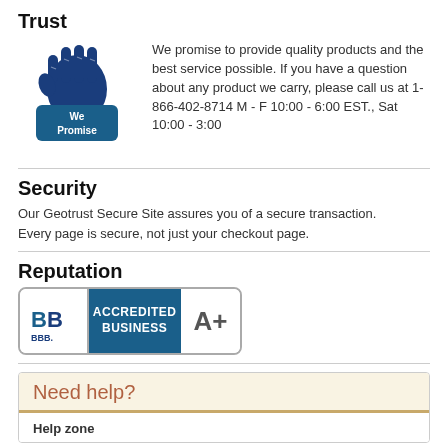Trust
[Figure (logo): We Promise fist logo in dark blue with a banner reading 'We Promise']
We promise to provide quality products and the best service possible. If you have a question about any product we carry, please call us at 1-866-402-8714 M - F 10:00 - 6:00 EST., Sat 10:00 - 3:00
Security
Our Geotrust Secure Site assures you of a secure transaction. Every page is secure, not just your checkout page.
Reputation
[Figure (logo): BBB Accredited Business A+ badge]
Need help?
Help zone